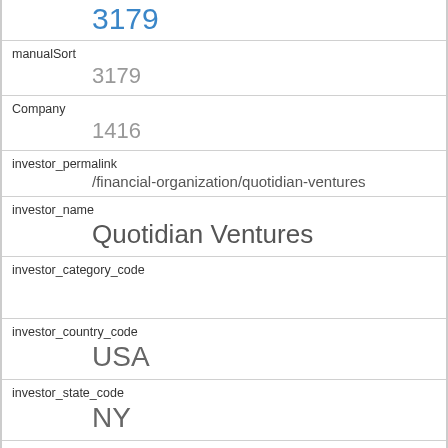3179
manualSort
3179
Company
1416
investor_permalink
/financial-organization/quotidian-ventures
investor_name
Quotidian Ventures
investor_category_code
investor_country_code
USA
investor_state_code
NY
investor_region
New York
investor_city
New York
funding_round_type
other